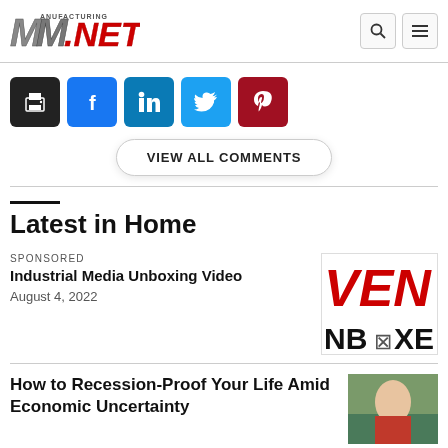Manufacturing.net
[Figure (logo): Manufacturing.net logo with stylized M and red NET text]
[Figure (infographic): Social share buttons: print (black), Facebook (blue), LinkedIn (dark blue), Twitter (light blue), Pinterest (dark red)]
VIEW ALL COMMENTS
Latest in Home
SPONSORED
Industrial Media Unboxing Video
August 4, 2022
[Figure (logo): Industrial Media Unboxing Video thumbnail showing VEN NBOXE text in red and black]
How to Recession-Proof Your Life Amid Economic Uncertainty